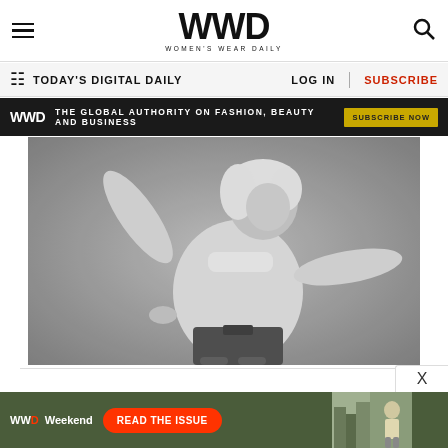WWD WOMEN'S WEAR DAILY
TODAY'S DIGITAL DAILY   LOG IN   SUBSCRIBE
WWD THE GLOBAL AUTHORITY ON FASHION, BEAUTY AND BUSINESS  SUBSCRIBE NOW
[Figure (photo): Black and white photo of a person with platinum blonde hair wearing a white long-sleeve turtleneck top and dark pants, posed with arms outstretched in a dynamic pose against a gray background]
WWD Weekend READ THE ISSUE